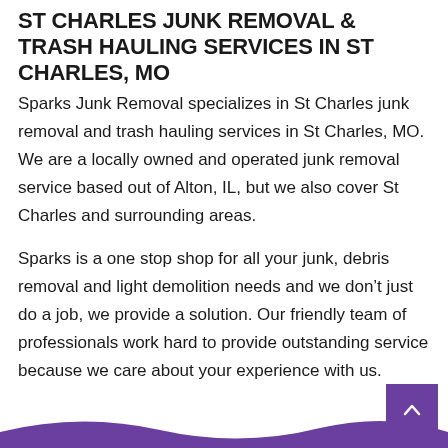ST CHARLES JUNK REMOVAL & TRASH HAULING SERVICES IN ST CHARLES, MO
Sparks Junk Removal specializes in St Charles junk removal and trash hauling services in St Charles, MO. We are a locally owned and operated junk removal service based out of Alton, IL, but we also cover St Charles and surrounding areas.
Sparks is a one stop shop for all your junk, debris removal and light demolition needs and we don’t just do a job, we provide a solution. Our friendly team of professionals work hard to provide outstanding service because we care about your experience with us.